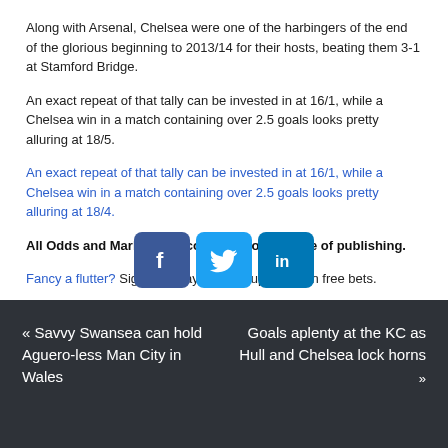Along with Arsenal, Chelsea were one of the harbingers of the end of the glorious beginning to 2013/14 for their hosts, beating them 3-1 at Stamford Bridge.
An exact repeat of that tally can be invested in at 16/1, while a Chelsea win in a match containing over 2.5 goals looks pretty alluring at 18/5.
An exact repeat of that tally can be invested in at 16/1, while a Chelsea win in a match containing over 2.5 goals looks pretty alluring at 18/4.
All Odds and Markets are correct as of the date of publishing.
Fancy a flutter? Sign up today to claim up to £50 in free bets.
[Figure (infographic): Social media share buttons: Facebook (blue square with f), Twitter (cyan square with bird), LinkedIn (teal square with in)]
« Savvy Swansea can hold Aguero-less Man City in Wales | Goals aplenty at the KC as Hull and Chelsea lock horns »